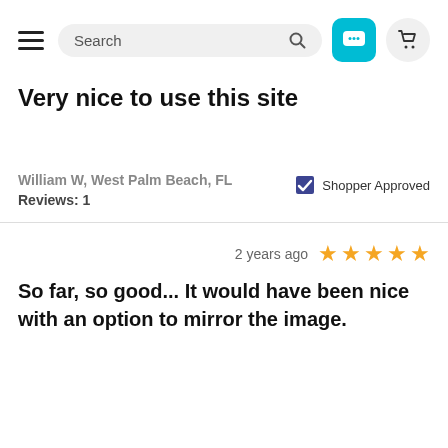Search bar with hamburger menu, chat button, cart button
Very nice to use this site
William W, West Palm Beach, FL
Reviews: 1
Shopper Approved
2 years ago ★★★★★
So far, so good... It would have been nice with an option to mirror the image.